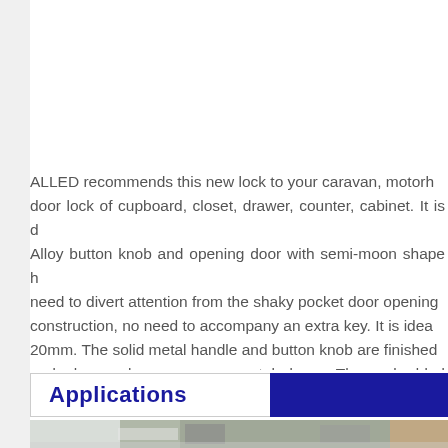ALLED recommends this new lock to your caravan, motorhome, door lock of cupboard, closet, drawer, counter, cabinet. It is designed with Zinc Alloy button knob and opening door with semi-moon shape handle, so no need to divert attention from the shaky pocket door opening construction, no need to accompany an extra key. It is ideal for door size 20mm. The solid metal handle and button knob are finished with silver and also work as an ornamental decor. The embedded installation.Components of this lock include the Zinc Alloy semi-moon handle and button knob, screw(2*M4, 3*M3).Ps:long for M4, short for M3.
Applications
[Figure (photo): Interior photo of a caravan or motorhome kitchen area showing a sink, curtains, countertop and window with a view of green grass outside.]